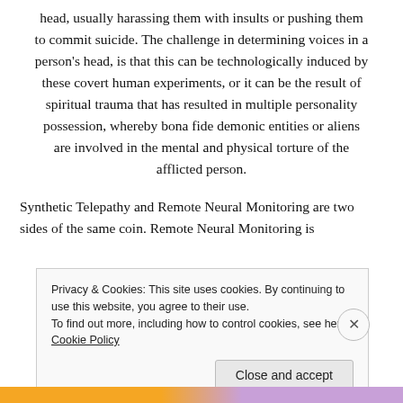head, usually harassing them with insults or pushing them to commit suicide. The challenge in determining voices in a person's head, is that this can be technologically induced by these covert human experiments, or it can be the result of spiritual trauma that has resulted in multiple personality possession, whereby bona fide demonic entities or aliens are involved in the mental and physical torture of the afflicted person.
Synthetic Telepathy and Remote Neural Monitoring are two sides of the same coin. Remote Neural Monitoring is
Privacy & Cookies: This site uses cookies. By continuing to use this website, you agree to their use.
To find out more, including how to control cookies, see here: Cookie Policy
Close and accept